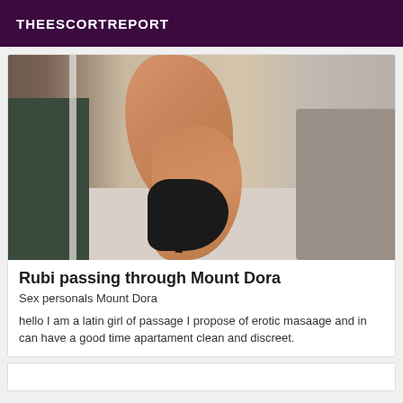THEESCORTREPORT
[Figure (photo): Photo showing a woman's legs wearing black high heel platform shoes, seated near a dark table, with a light wood floor and grey couch visible in the background.]
Rubi passing through Mount Dora
Sex personals Mount Dora
hello I am a latin girl of passage I propose of erotic masaage and in can have a good time apartament clean and discreet.